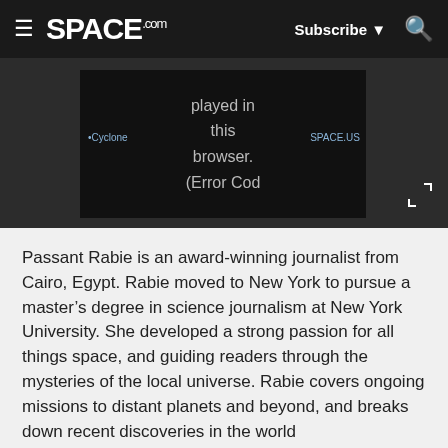SPACE.com — Subscribe | Search
[Figure (screenshot): Video player showing error message: 'played in this browser. (Error Cod']
Passant Rabie is an award-winning journalist from Cairo, Egypt. Rabie moved to New York to pursue a master’s degree in science journalism at New York University. She developed a strong passion for all things space, and guiding readers through the mysteries of the local universe. Rabie covers ongoing missions to distant planets and beyond, and breaks down recent discoveries in the world
[Figure (advertisement): Ad banner: Save Up to 65% — Leesburg Premium Outlets, with infinity loop logo and blue arrow icon]